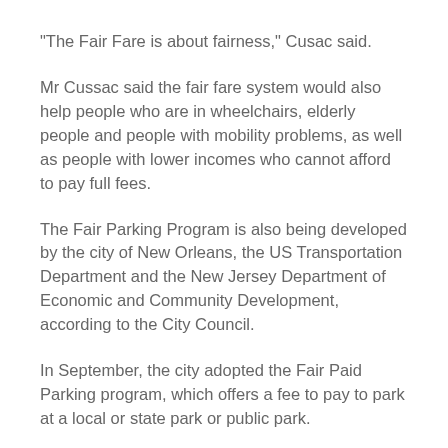“The Fair Fare is about fairness,” Cusac said.
Mr Cussac said the fair fare system would also help people who are in wheelchairs, elderly people and people with mobility problems, as well as people with lower incomes who cannot afford to pay full fees.
The Fair Parking Program is also being developed by the city of New Orleans, the US Transportation Department and the New Jersey Department of Economic and Community Development, according to the City Council.
In September, the city adopted the Fair Paid Parking program, which offers a fee to pay to park at a local or state park or public park.
“The Fair Paid Plan provides information on parking restrictions that can be applied to a variety of types of